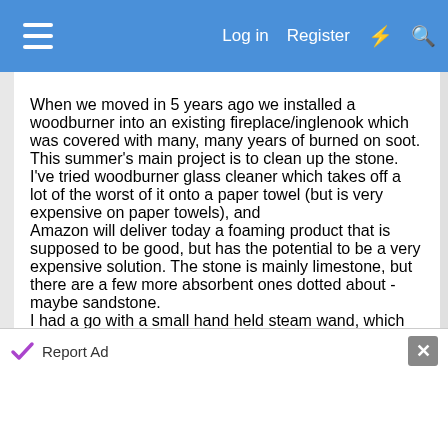Log in  Register
When we moved in 5 years ago we installed a woodburner into an existing fireplace/inglenook which was covered with many, many years of burned on soot. This summer's main project is to clean up the stone.
I've tried woodburner glass cleaner which takes off a lot of the worst of it onto a paper towel (but is very expensive on paper towels), and
Amazon will deliver today a foaming product that is supposed to be good, but has the potential to be a very expensive solution. The stone is mainly limestone, but there are a few more absorbent ones dotted about - maybe sandstone.
I had a go with a small hand held steam wand, which also helped a bit, but was wondering if anyone on the
Report Ad